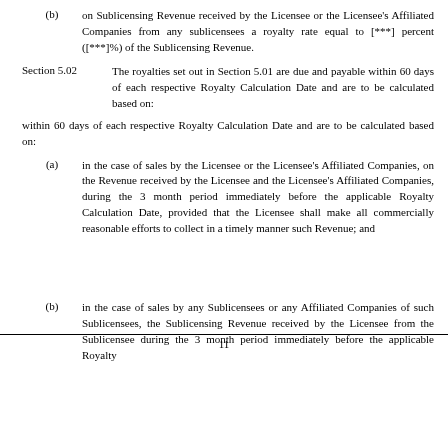(b) on Sublicensing Revenue received by the Licensee or the Licensee's Affiliated Companies from any sublicensees a royalty rate equal to [***] percent ([***]%) of the Sublicensing Revenue.
Section 5.02  The royalties set out in Section 5.01 are due and payable within 60 days of each respective Royalty Calculation Date and are to be calculated based on:
(a) in the case of sales by the Licensee or the Licensee's Affiliated Companies, on the Revenue received by the Licensee and the Licensee's Affiliated Companies, during the 3 month period immediately before the applicable Royalty Calculation Date, provided that the Licensee shall make all commercially reasonable efforts to collect in a timely manner such Revenue; and
11
(b) in the case of sales by any Sublicensees or any Affiliated Companies of such Sublicensees, the Sublicensing Revenue received by the Licensee from the Sublicensee during the 3 month period immediately before the applicable Royalty